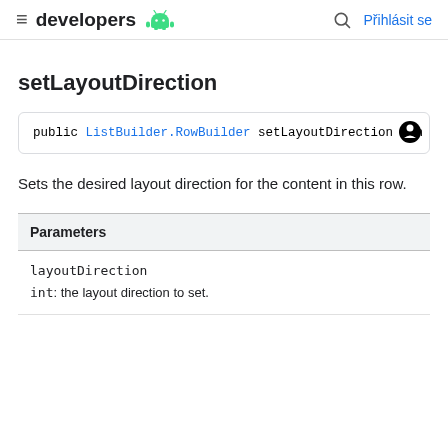developers  Přihlásit se
setLayoutDirection
public ListBuilder.RowBuilder setLayoutDirection (in
Sets the desired layout direction for the content in this row.
| Parameters |
| --- |
| layoutDirection |  |
| int: the layout direction to set. |  |